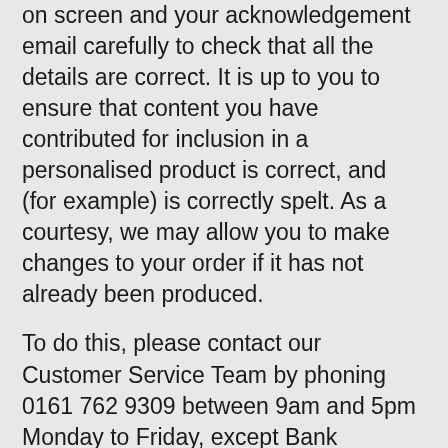on screen and your acknowledgement email carefully to check that all the details are correct. It is up to you to ensure that content you have contributed for inclusion in a personalised product is correct, and (for example) is correctly spelt. As a courtesy, we may allow you to make changes to your order if it has not already been produced.
To do this, please contact our Customer Service Team by phoning 0161 762 9309 between 9am and 5pm Monday to Friday, except Bank Holidays in England.
If you are uploading a photo, images must be in JPEG or PNG format. Any other format such as Word documents and PDFs cannot be accepted. We print images at 300DPI (Dots Per Inch), so if you are scanning the image we recommend you use this setting.
Creation Express and our Franchise Partners cannot be held responsible if the photo you